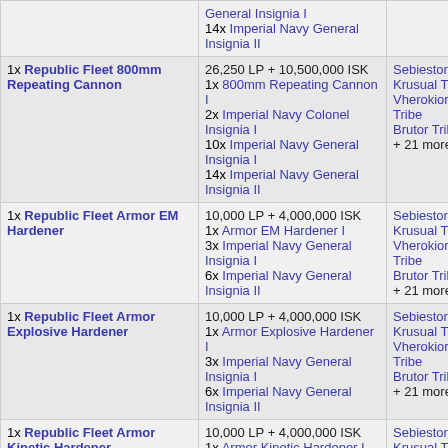| Item | Cost / Requirements | Offered By |
| --- | --- | --- |
| [partial row - top cut off] | General Insignia I
14x Imperial Navy General Insignia II |  |
| 1x Republic Fleet 800mm Repeating Cannon | 26,250 LP + 10,500,000 ISK
1x 800mm Repeating Cannon I
2x Imperial Navy Colonel Insignia I
10x Imperial Navy General Insignia I
14x Imperial Navy General Insignia II | Sebiestor Tribe
Krusual Tribe
Vherokior Tribe
Brutor Tribe
+ 21 more |
| 1x Republic Fleet Armor EM Hardener | 10,000 LP + 4,000,000 ISK
1x Armor EM Hardener I
3x Imperial Navy General Insignia I
6x Imperial Navy General Insignia II | Sebiestor Tribe
Krusual Tribe
Vherokior Tribe
Brutor Tribe
+ 21 more |
| 1x Republic Fleet Armor Explosive Hardener | 10,000 LP + 4,000,000 ISK
1x Armor Explosive Hardener I
3x Imperial Navy General Insignia I
6x Imperial Navy General Insignia II | Sebiestor Tribe
Krusual Tribe
Vherokior Tribe
Brutor Tribe
+ 21 more |
| 1x Republic Fleet Armor Kinetic Hardener | 10,000 LP + 4,000,000 ISK
1x Armor Kinetic Hardener I
3x Imperial Navy General Insignia I
6x Imperial Navy General Insignia II | Sebiestor Tribe
Krusual Tribe
Vherokior Tribe
Brutor Tribe
+ 21 more |